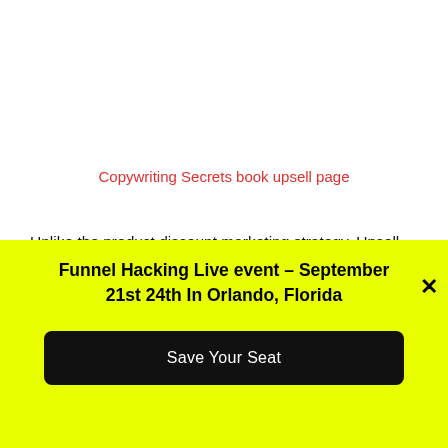Copywriting Secrets book upsell page
Unlike the product discount marketing strategy, Upsell refers to selling an upgraded product with better features at a higher price to users who are considering
Funnel Hacking Live event – September 21st 24th In Orlando, Florida
Save Your Seat